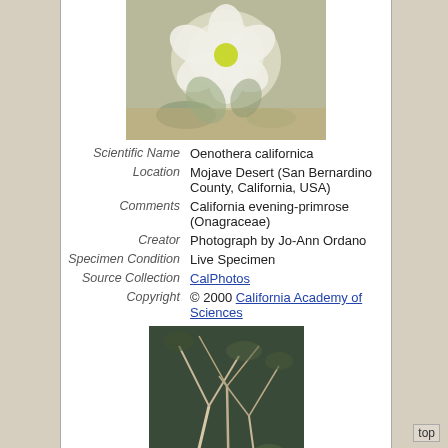[Figure (photo): White flower (Oenothera californica) on sandy ground]
| Field | Value |
| --- | --- |
| Scientific Name | Oenothera californica |
| Location | Mojave Desert (San Bernardino County, California, USA) |
| Comments | California evening-primrose (Onagraceae) |
| Creator | Photograph by Jo-Ann Ordano |
| Specimen Condition | Live Specimen |
| Source Collection | CalPhotos |
| Copyright | © 2000 California Academy of Sciences |
[Figure (photo): Second photo of Oenothera californica plant]